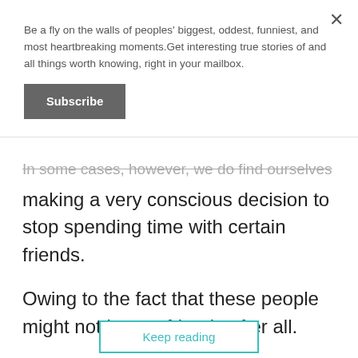Be a fly on the walls of peoples' biggest, oddest, funniest, and most heartbreaking moments.Get interesting true stories of and all things worth knowing, right in your mailbox.
Subscribe
In some cases, however, we do find ourselves making a very conscious decision to stop spending time with certain friends.
Owing to the fact that these people might not be our friends after all.
In certain cases, the communication ends as the result of one specific moment.
Keep reading